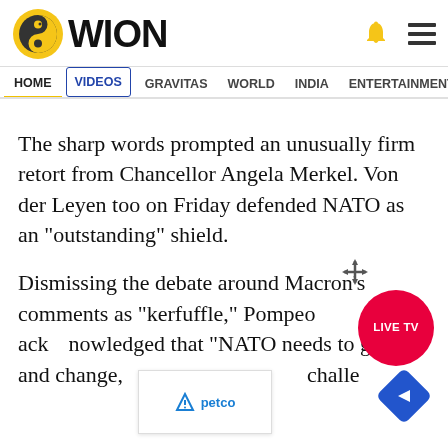WION
HOME | VIDEOS | GRAVITAS | WORLD | INDIA | ENTERTAINMENT | SPORTS
The sharp words prompted an unusually firm retort from Chancellor Angela Merkel. Von der Leyen too on Friday defended NATO as an "outstanding" shield.
Dismissing the debate around Macron's comments as "kerfuffle," Pompeo acknowledged that "NATO needs to grow and change, [it] needs to continue to be adapted to face the modern challenges